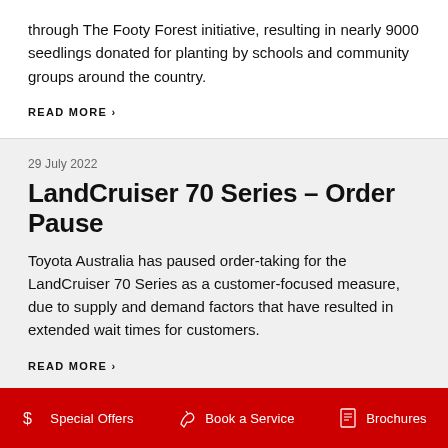through The Footy Forest initiative, resulting in nearly 9000 seedlings donated for planting by schools and community groups around the country.
READ MORE >
29 July 2022
LandCruiser 70 Series – Order Pause
Toyota Australia has paused order-taking for the LandCruiser 70 Series as a customer-focused measure, due to supply and demand factors that have resulted in extended wait times for customers.
READ MORE >
Special Offers   Book a Service   Brochures